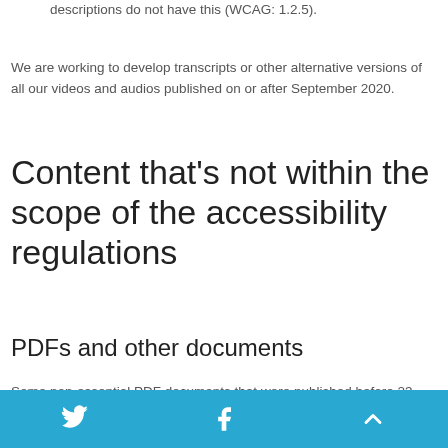descriptions do not have this (WCAG: 1.2.5).
We are working to develop transcripts or other alternative versions of all our videos and audios published on or after September 2020.
Content that's not within the scope of the accessibility regulations
PDFs and other documents
Some non-essential PDF documents that were published before 23 September 2018 may not be fully accessible. All subsequent PDF documents will comply with accessibility regulations.
Twitter | Facebook | Back to top